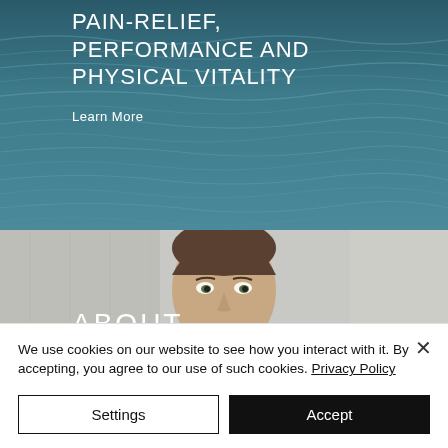[Figure (photo): Ocean/water surface background image with teal-blue wavy water texture]
PAIN-RELIEF, PERFORMANCE AND PHYSICAL VITALITY
Learn More
[Figure (photo): Portrait photo of a young man with brown hair, partially visible, against a light background with 'ABOUT' text overlay]
We use cookies on our website to see how you interact with it. By accepting, you agree to our use of such cookies. Privacy Policy
Settings
Accept